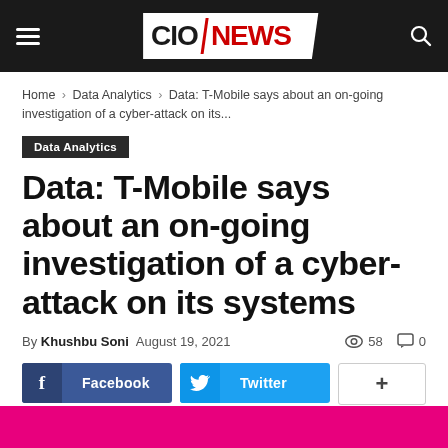CIO NEWS
Home › Data Analytics › Data: T-Mobile says about an on-going investigation of a cyber-attack on its...
Data Analytics
Data: T-Mobile says about an on-going investigation of a cyber-attack on its systems
By Khushbu Soni August 19, 2021  58  0
[Figure (other): Social share buttons: Facebook, Twitter, and a More (+) button]